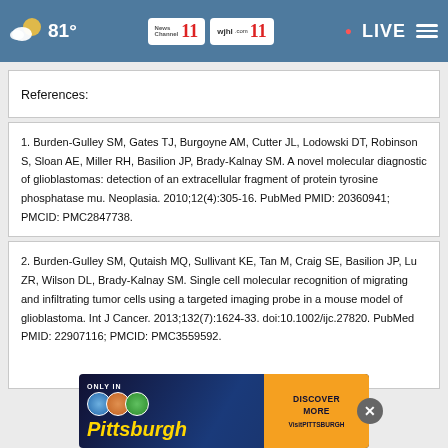81° | News Channel 11 WJHL | LIVE
References:
1. Burden-Gulley SM, Gates TJ, Burgoyne AM, Cutter JL, Lodowski DT, Robinson S, Sloan AE, Miller RH, Basilion JP, Brady-Kalnay SM. A novel molecular diagnostic of glioblastomas: detection of an extracellular fragment of protein tyrosine phosphatase mu. Neoplasia. 2010;12(4):305-16. PubMed PMID: 20360941; PMCID: PMC2847738.
2. Burden-Gulley SM, Qutaish MQ, Sullivant KE, Tan M, Craig SE, Basilion JP, Lu ZR, Wilson DL, Brady-Kalnay SM. Single cell molecular recognition of migrating and infiltrating tumor cells using a targeted imaging probe in a mouse model of glioblastoma. Int J Cancer. 2013;132(7):1624-33. doi:10.1002/ijc.27820. PubMed PMID: 22907116; PMCID: PMC3559592.
[Figure (screenshot): Pittsburgh advertisement overlay with 'ONLY IN Pittsburgh DISCOVER MORE VisitPITTSBURGH' text and close button]